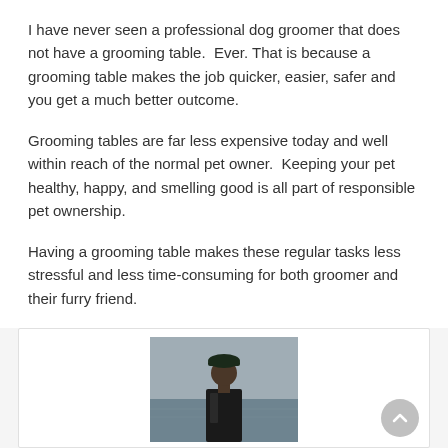I have never seen a professional dog groomer that does not have a grooming table.  Ever. That is because a grooming table makes the job quicker, easier, safer and you get a much better outcome.
Grooming tables are far less expensive today and well within reach of the normal pet owner.  Keeping your pet healthy, happy, and smelling good is all part of responsible pet ownership.
Having a grooming table makes these regular tasks less stressful and less time-consuming for both groomer and their furry friend.
[Figure (photo): A man wearing a dark cap and jacket, photographed from the shoulders up against an overcast sky and water in the background.]